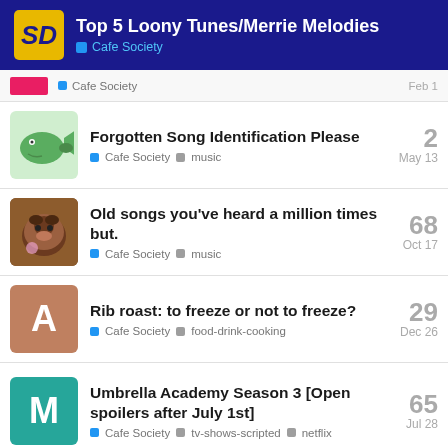Top 5 Loony Tunes/Merrie Melodies — Cafe Society
Forgotten Song Identification Please — Cafe Society, music — 2 replies — May 13
Old songs you’ve heard a million times but. — Cafe Society, music — 68 replies — Oct 17
Rib roast: to freeze or not to freeze? — Cafe Society, food-drink-cooking — 29 replies — Dec 26
Umbrella Academy Season 3 [Open spoilers after July 1st] — Cafe Society, tv-shows-scripted, netflix — 65 replies — Jul 28
Want to read more? Browse other topics in Cafe Society or view latest topics.